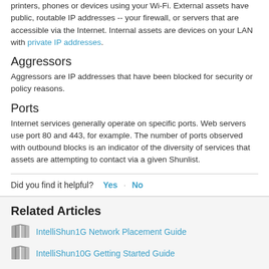printers, phones or devices using your Wi-Fi. External assets have public, routable IP addresses -- your firewall, or servers that are accessible via the Internet. Internal assets are devices on your LAN with private IP addresses.
Aggressors
Aggressors are IP addresses that have been blocked for security or policy reasons.
Ports
Internet services generally operate on specific ports. Web servers use port 80 and 443, for example. The number of ports observed with outbound blocks is an indicator of the diversity of services that assets are attempting to contact via a given Shunlist.
Did you find it helpful? Yes · No
Related Articles
IntelliShun1G Network Placement Guide
IntelliShun10G Getting Started Guide